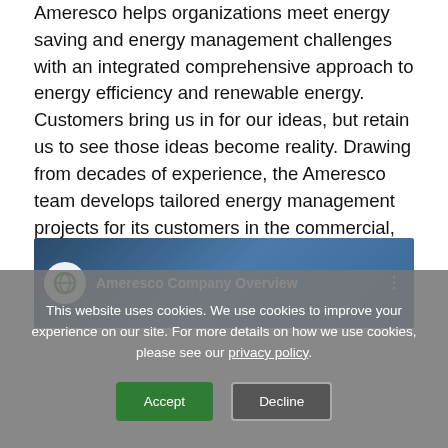Ameresco helps organizations meet energy saving and energy management challenges with an integrated comprehensive approach to energy efficiency and renewable energy. Customers bring us in for our ideas, but retain us to see those ideas become reality. Drawing from decades of experience, the Ameresco team develops tailored energy management projects for its customers in the commercial, industrial, government, education, healthcare and public housing sectors.
[Figure (screenshot): Ameresco Company Overview video thumbnail with logo and title]
This website uses cookies. We use cookies to improve your experience on our site. For more details on how we use cookies, please see our privacy policy.